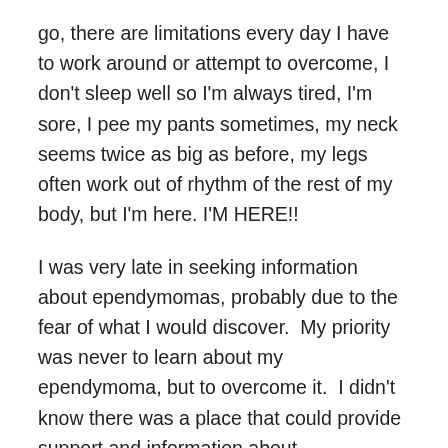go, there are limitations every day I have to work around or attempt to overcome, I don't sleep well so I'm always tired, I'm sore, I pee my pants sometimes, my neck seems twice as big as before, my legs often work out of rhythm of the rest of my body, but I'm here. I'M HERE!!
I was very late in seeking information about ependymomas, probably due to the fear of what I would discover.  My priority was never to learn about my ependymoma, but to overcome it.  I didn't know there was a place that could provide support and information about ependymoma specifically. I was always told I had a brain tumor and was never informed an ependymoma was its own entity.   In fact, the night before my surgery, a doctor sat on the bed with me and told me not to Google